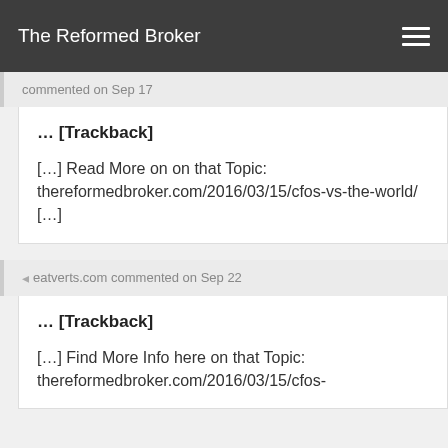The Reformed Broker
commented on Sep 17
… [Trackback]
[…] Read More on on that Topic: thereformedbroker.com/2016/03/15/cfos-vs-the-world/ […]
eatverts.com commented on Sep 22
… [Trackback]
[…] Find More Info here on that Topic: thereformedbroker.com/2016/03/15/cfos-